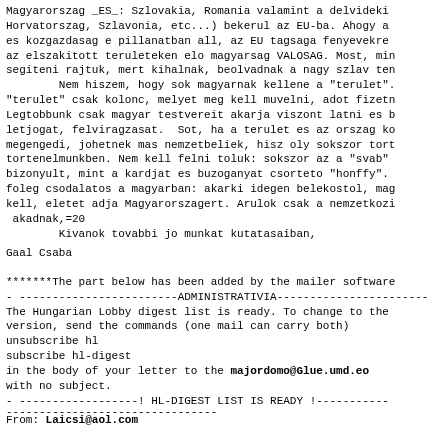Magyarorszag _ES_: Szlovakia, Romania valamint a delvideki
Horvatorszag, Szlavonia, etc...) bekerul az EU-ba. Ahogy a
es kozgazdasag e pillanatban all, az EU tagsaga fenyevekre
az elszakitott teruleteken elo magyarsag VALOSAG. Most, min
segiteni rajtuk, mert kihalnak, beolvadnak a nagy szlav ten
        Nem hiszem, hogy sok magyarnak kellene a "terulet".
"terulet" csak kolonc, melyet meg kell muvelni, adot fizetn
Legtobbunk csak magyar testvereit akarja viszont latni es b
letjogat, felviragzasat.  Sot, ha a terulet es az orszag ko
megengedi, johetnek mas nemzetbeliek, hisz oly sokszor tort
tortenelmunkben. Nem kell felni toluk: sokszor az a "svab"
bizonyult, mint a kardjat es buzoganyat csorteto "honffy".
foleg csodalatos a magyarban: akarki idegen belekostol, mag
kell, eletet adja Magyarorszagert. Arulok csak a nemzetkozi
 akadnak,=20
        Kivanok tovabbi jo munkat kutatasaiban,
Gaal Csaba
*******The part below has been added by the mailer software
- ------------------------ADMINISTRATIVIA-----------------------
The Hungarian Lobby digest list is ready. To change to the
version, send the commands (one mail can carry both)
unsubscribe hl
subscribe hl-digest
in the body of your letter to the majordomo@Glue.umd.ed
with no subject.
- ------------------! HL-DIGEST LIST IS READY !-----------
--------------------------------
From: Laicsi@aol.com